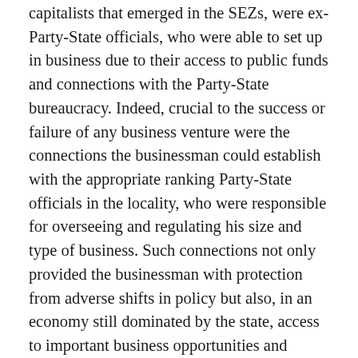capitalists that emerged in the SEZs, were ex-Party-State officials, who were able to set up in business due to their access to public funds and connections with the Party-State bureaucracy. Indeed, crucial to the success or failure of any business venture were the connections the businessman could establish with the appropriate ranking Party-State officials in the locality, who were responsible for overseeing and regulating his size and type of business. Such connections not only provided the businessman with protection from adverse shifts in policy but also, in an economy still dominated by the state, access to important business opportunities and advantages.
In the absence of a well-defined commercial law and an 'impartial' legal system that could enforce contracts, and with business regulations largely dependent on the discretion of local Party-State officials, the mutual